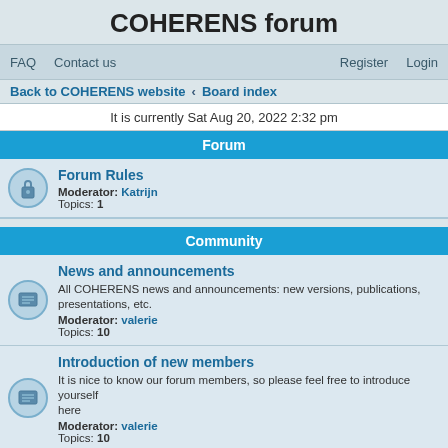COHERENS forum
FAQ   Contact us   Register   Login
Back to COHERENS website · Board index
It is currently Sat Aug 20, 2022 2:32 pm
Forum
Forum Rules
Moderator: Katrijn
Topics: 1
Community
News and announcements
All COHERENS news and announcements: new versions, publications, presentations, etc.
Moderator: valerie
Topics: 10
Introduction of new members
It is nice to know our forum members, so please feel free to introduce yourself here
Moderator: valerie
Topics: 10
Show cases
You don't know if COHERENS is suitable to solve your problem? you have done developments of your own and want to introduce them to other users?